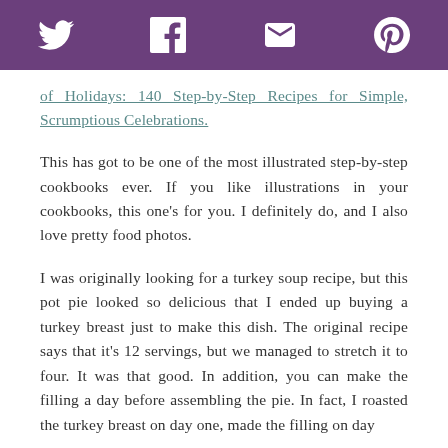[Figure (other): Social media sharing icons bar with Twitter, Facebook, Email, and Pinterest icons on a purple background]
of Holidays: 140 Step-by-Step Recipes for Simple, Scrumptious Celebrations.
This has got to be one of the most illustrated step-by-step cookbooks ever. If you like illustrations in your cookbooks, this one's for you. I definitely do, and I also love pretty food photos.
I was originally looking for a turkey soup recipe, but this pot pie looked so delicious that I ended up buying a turkey breast just to make this dish. The original recipe says that it's 12 servings, but we managed to stretch it to four. It was that good. In addition, you can make the filling a day before assembling the pie. In fact, I roasted the turkey breast on day one, made the filling on day